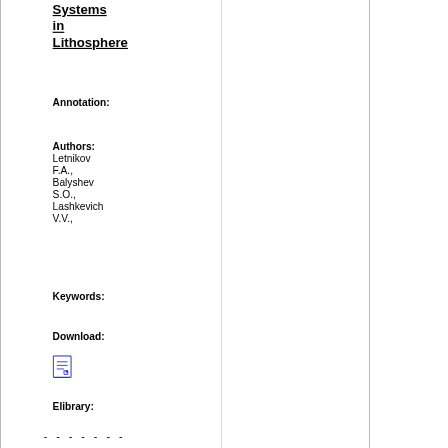Systems in Lithosphere
Annotation:
Authors: Letnikov F.A., Balyshev S.O., Lashkevich V.V.,
Keywords:
Download:
[Figure (other): PDF download icon]
Elibrary:
- - - - - - -
Evolution